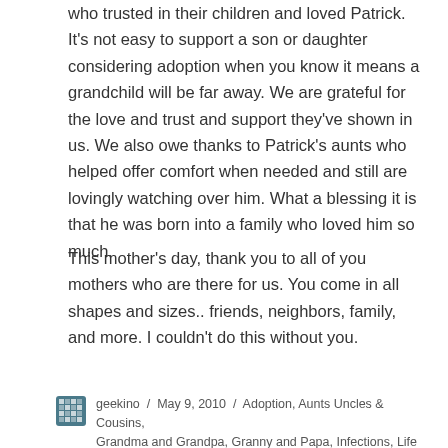who trusted in their children and loved Patrick. It's not easy to support a son or daughter considering adoption when you know it means a grandchild will be far away. We are grateful for the love and trust and support they've shown in us. We also owe thanks to Patrick's aunts who helped offer comfort when needed and still are lovingly watching over him. What a blessing it is that he was born into a family who loved him so much.
This mother's day, thank you to all of you mothers who are there for us. You come in all shapes and sizes.. friends, neighbors, family, and more. I couldn't do this without you.
geekino / May 9, 2010 / Adoption, Aunts Uncles & Cousins, Grandma and Grandpa, Granny and Papa, Infections, Life as an SBS